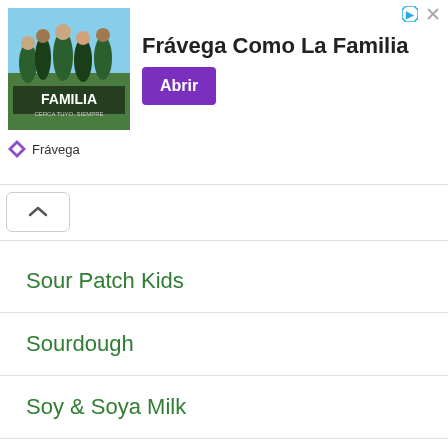[Figure (screenshot): Advertisement banner for Frávega showing group of people with text 'FAMILIA' and 'Frávega Como La Familia' with purple 'Abrir' button]
Sour Patch Kids
Sourdough
Soy & Soya Milk
Soy Sauce
Soya Lecithin
Spirits
Sponges